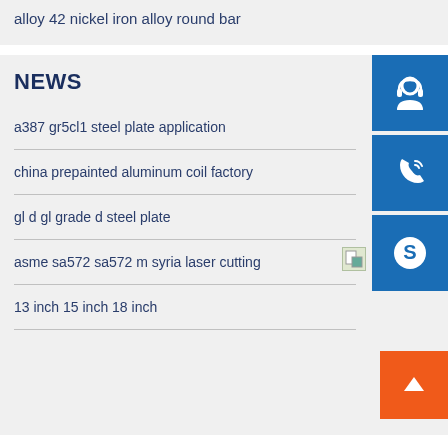alloy 42 nickel iron alloy round bar
NEWS
a387 gr5cl1 steel plate application
china prepainted aluminum coil factory
gl d gl grade d steel plate
asme sa572 sa572 m syria laser cutting
13 inch 15 inch 18 inch